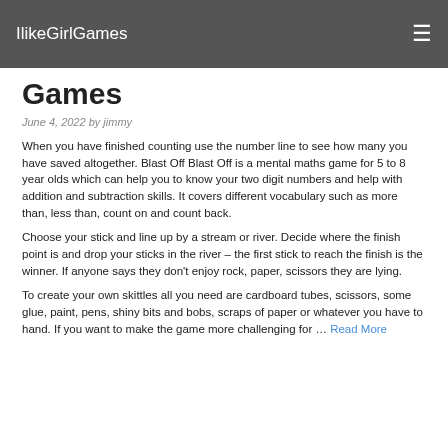IlikeGirlGames
Games
June 4, 2022 by jimmy
When you have finished counting use the number line to see how many you have saved altogether. Blast Off Blast Off is a mental maths game for 5 to 8 year olds which can help you to know your two digit numbers and help with addition and subtraction skills. It covers different vocabulary such as more than, less than, count on and count back.
Choose your stick and line up by a stream or river. Decide where the finish point is and drop your sticks in the river – the first stick to reach the finish is the winner. If anyone says they don't enjoy rock, paper, scissors they are lying.
To create your own skittles all you need are cardboard tubes, scissors, some glue, paint, pens, shiny bits and bobs, scraps of paper or whatever you have to hand. If you want to make the game more challenging for … Read More